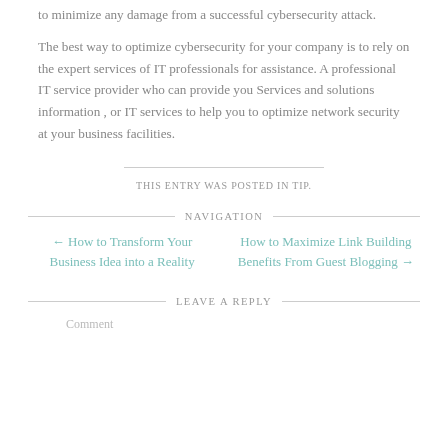to minimize any damage from a successful cybersecurity attack.
The best way to optimize cybersecurity for your company is to rely on the expert services of IT professionals for assistance. A professional IT service provider who can provide you Services and solutions information , or IT services to help you to optimize network security at your business facilities.
THIS ENTRY WAS POSTED IN TIP.
NAVIGATION
← How to Transform Your Business Idea into a Reality
How to Maximize Link Building Benefits From Guest Blogging →
LEAVE A REPLY
Comment